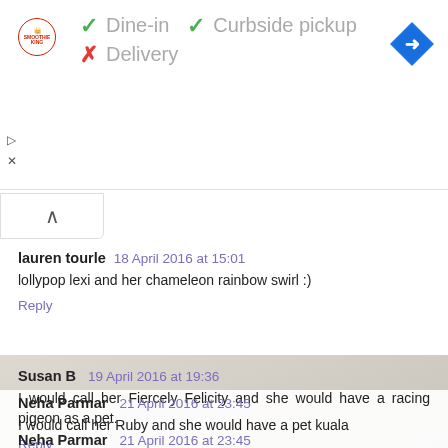[Figure (screenshot): Ad bar with Smoothie King logo, service options (Dine-in checkmark, Curbside pickup checkmark, Delivery X), and blue navigation diamond icon]
lauren tourle  18 April 2016 at 15:01
lollypop lexi and her chameleon rainbow swirl :)
Reply
Susan B  19 April 2016 at 19:36
I would call her Fiercely Felicity and she would have a racing pigeon as a pet.
Reply
Neha Parmar  21 April 2016 at 23:45
I would call her Ruby and she would have a pet kuala